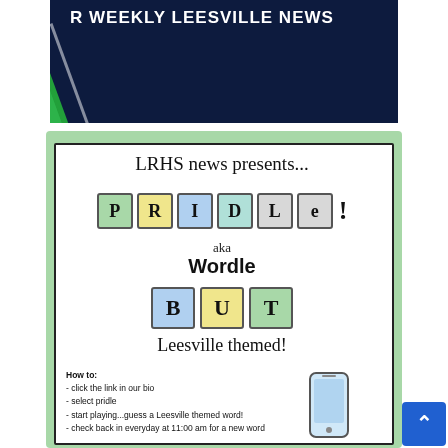[Figure (illustration): Dark navy blue banner with white bold text 'R WEEKLY LEESVILLE NEWS' and green diagonal stripe on left]
[Figure (infographic): Pridle game announcement flyer on green card with white inner card. Shows 'LRHS news presents...' heading, colorful letter tiles spelling PRIDLE with exclamation mark, 'aka Wordle BUT Leesville themed!' text, how-to instructions, and phone illustration]
LRHS news presents...
PRIDLE!
aka
Wordle
BUT
Leesville themed!
How to:
- click the link in our bio
- select pridle
- start playing...guess a Leesville themed word!
- check back in everyday at 11:00 am for a new word